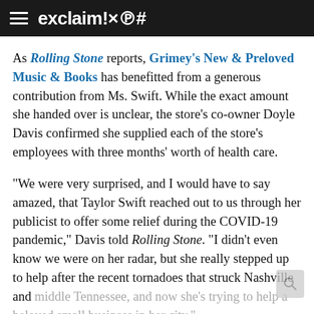exclaim!×℗#
As Rolling Stone reports, Grimey's New & Preloved Music & Books has benefitted from a generous contribution from Ms. Swift. While the exact amount she handed over is unclear, the store's co-owner Doyle Davis confirmed she supplied each of the store's employees with three months' worth of health care.
"We were very surprised, and I would have to say amazed, that Taylor Swift reached out to us through her publicist to offer some relief during the COVID-19 pandemic," Davis told Rolling Stone. "I didn't even know we were on her radar, but she really stepped up to help after the recent tornadoes that struck Nashville and middle Tennessee, and now she's trying to help a beloved small business in her city."